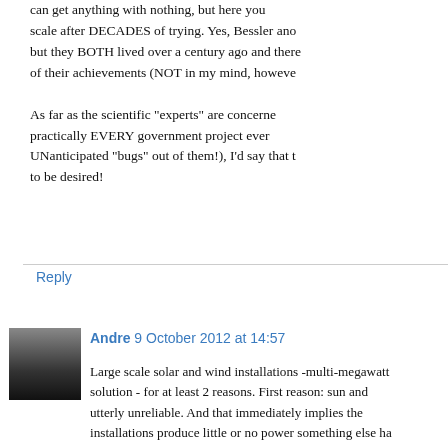can get anything with nothing, but here you scale after DECADES of trying. Yes, Bessler and but they BOTH lived over a century ago and there of their achievements (NOT in my mind, however
As far as the scientific "experts" are concerned practically EVERY government project ever UNanticipated "bugs" out of them!), I'd say that to be desired!
Reply
[Figure (photo): Small avatar thumbnail showing a dark landscape photo]
Andre 9 October 2012 at 14:57
Large scale solar and wind installations -multi-megawatt solution - for at least 2 reasons. First reason: sun and utterly unreliable. And that immediately implies the installations produce little or no power something else ha than can take over: conventional fossil-fuel or nuclea about that, but it is a fact.